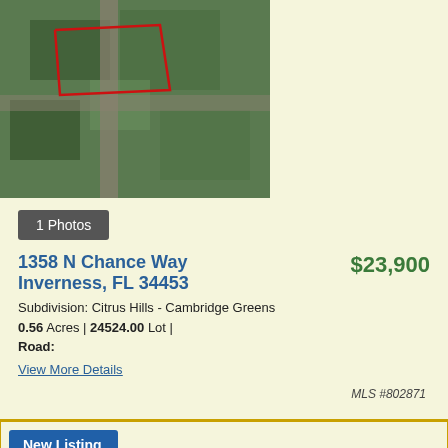[Figure (photo): Aerial satellite view of residential lot at 1358 N Chance Way, Inverness FL, with red boundary outline]
1 Photos
1358 N Chance Way
$23,900
Inverness, FL 34453
Subdivision: Citrus Hills - Cambridge Greens
0.56 Acres | 24524.00 Lot |
Road:
View More Details
MLS #802871
New Listing
[Figure (logo): Accessibility/wheelchair icon - blue circle with white wheelchair user symbol]
[Figure (other): reCAPTCHA widget showing spinning arrows logo and Privacy - Terms text]